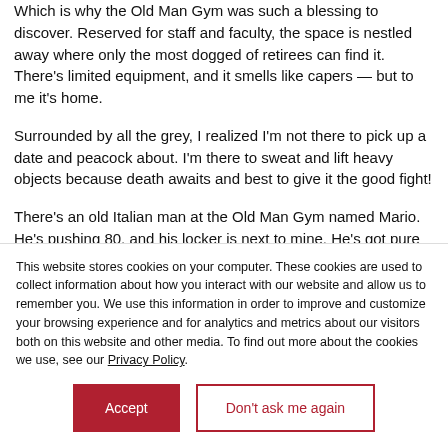Which is why the Old Man Gym was such a blessing to discover. Reserved for staff and faculty, the space is nestled away where only the most dogged of retirees can find it. There's limited equipment, and it smells like capers — but to me it's home.
Surrounded by all the grey, I realized I'm not there to pick up a date and peacock about. I'm there to sweat and lift heavy objects because death awaits and best to give it the good fight!
There's an old Italian man at the Old Man Gym named Mario. He's pushing 80, and his locker is next to mine. He's got pure
This website stores cookies on your computer. These cookies are used to collect information about how you interact with our website and allow us to remember you. We use this information in order to improve and customize your browsing experience and for analytics and metrics about our visitors both on this website and other media. To find out more about the cookies we use, see our Privacy Policy.